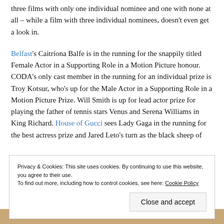three films with only one individual nominee and one with none at all – while a film with three individual nominees, doesn't even get a look in.
Belfast's Caitríona Balfe is in the running for the snappily titled Female Actor in a Supporting Role in a Motion Picture honour. CODA's only cast member in the running for an individual prize is Troy Kotsur, who's up for the Male Actor in a Supporting Role in a Motion Picture Prize. Will Smith is up for lead actor prize for playing the father of tennis stars Venus and Serena Williams in King Richard. House of Gucci sees Lady Gaga in the running for the best actress prize and Jared Leto's turn as the black sheep of
Privacy & Cookies: This site uses cookies. By continuing to use this website, you agree to their use.
To find out more, including how to control cookies, see here: Cookie Policy
Close and accept
[Figure (photo): Bottom strip showing a photo, partially visible at the bottom of the page]